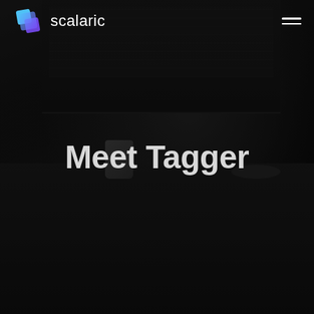[Figure (photo): Dark hero image showing a person at a desk with monitors displaying content in the background, dark overlay applied over the photo]
scalaric
Meet Tagger